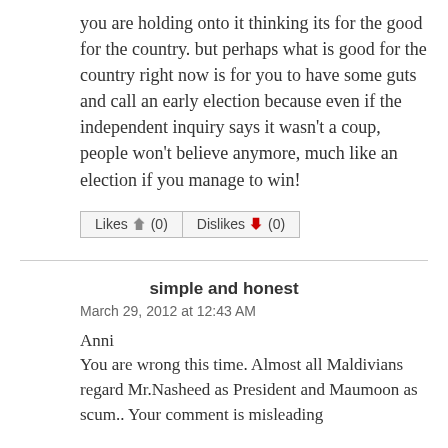you are holding onto it thinking its for the good for the country. but perhaps what is good for the country right now is for you to have some guts and call an early election because even if the independent inquiry says it wasn't a coup, people won't believe anymore, much like an election if you manage to win!
Likes (0)  Dislikes (0)
simple and honest
March 29, 2012 at 12:43 AM
Anni
You are wrong this time. Almost all Maldivians regard Mr.Nasheed as President and Maumoon as scum.. Your comment is misleading